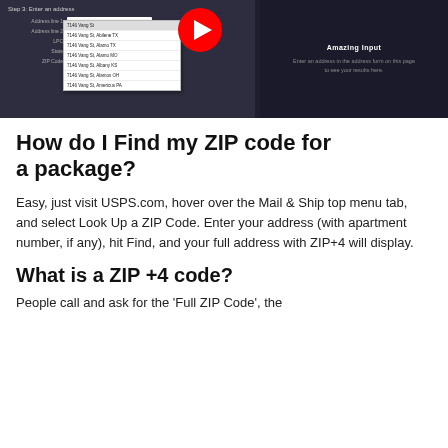[Figure (screenshot): Screenshot of a USPS ZIP code lookup tool interface with a form for entering an address (Address line 1, Address line 2, LPC, State, ZIP Code fields), a dropdown showing address suggestions starting with '7146 Vang St', and a YouTube play button overlay. Right panel shows 'Amazing Input' with placeholder text. Buttons: 'Try a sample' and 'View Results'.]
How do I Find my ZIP code for a package?
Easy, just visit USPS.com, hover over the Mail & Ship top menu tab, and select Look Up a ZIP Code. Enter your address (with apartment number, if any), hit Find, and your full address with ZIP+4 will display.
What is a ZIP +4 code?
People call and ask for the 'Full ZIP Code', the